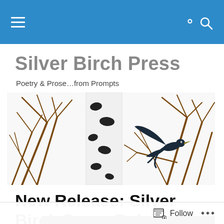Silver Birch Press — navigation bar with hamburger menu and search icon
Silver Birch Press
Poetry & Prose…from Prompts
[Figure (illustration): Decorative illustration showing birch tree branches with black bird markings and a flying black bird, in brown and white tones]
New Release: Silver Birch Press Bukowski Anthology
Follow •••